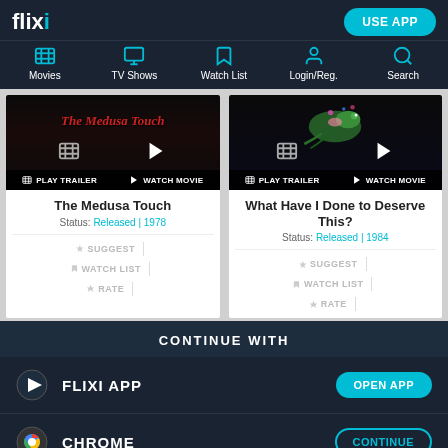[Figure (screenshot): Flixi streaming app navigation bar with logo, USE APP button, and nav icons for Movies, TV Shows, Watch List, Login/Reg., Search]
[Figure (screenshot): Movie card for The Medusa Touch (1978) with trailer/watch buttons, and movie card for What Have I Done to Deserve This? (1984)]
CONTINUE WITH
FLIXI APP
CHROME